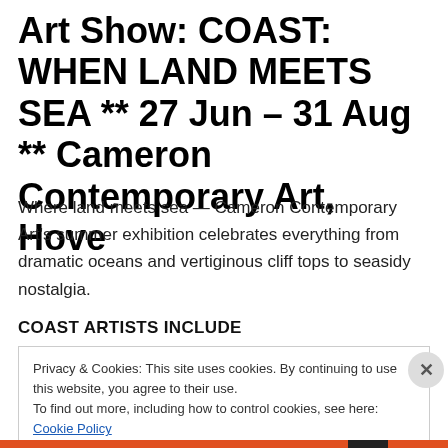Art Show: COAST: WHEN LAND MEETS SEA ** 27 Jun – 31 Aug ** Cameron Contemporary Art, Hove
Where land meets sea — Cameron Contemporary Art's summer exhibition celebrates everything from dramatic oceans and vertiginous cliff tops to seasidy nostalgia.
COAST ARTISTS INCLUDE
Privacy & Cookies: This site uses cookies. By continuing to use this website, you agree to their use. To find out more, including how to control cookies, see here: Cookie Policy